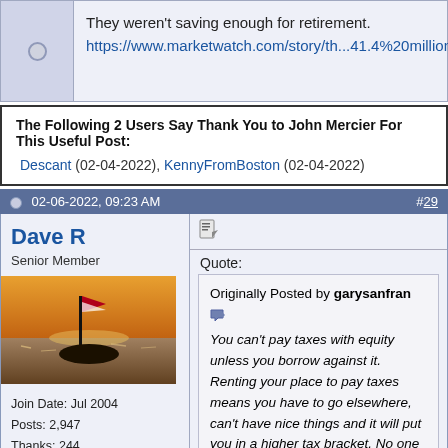They weren't saving enough for retirement. https://www.marketwatch.com/story/th...41.4%20million.
The Following 2 Users Say Thank You to John Mercier For This Useful Post: Descant (02-04-2022), KennyFromBoston (02-04-2022)
02-06-2022, 09:23 AM  #29
Dave R
Senior Member
Join Date: Jul 2004
Posts: 2,947
Thanks: 244
Thanked 727 Times in 431 Posts
Quote: Originally Posted by garysanfran You can't pay taxes with equity unless you borrow against it. Renting your place to pay taxes means you have to go elsewhere, can't have nice things and it will put you in a higher tax bracket. No one should be taxed out